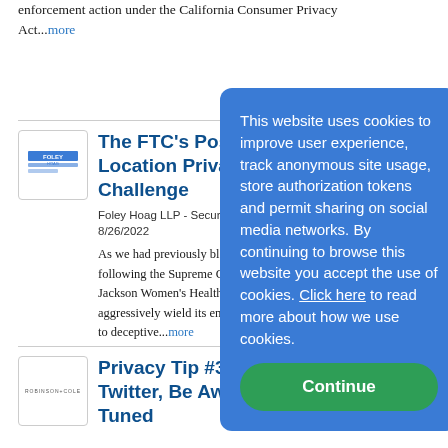enforcement action under the California Consumer Privacy Act...more
The FTC's Post- Location Privacy Challenge
Foley Hoag LLP - Security, P... 8/26/2022
As we had previously blogg... following the Supreme Cou... Jackson Women's Health in... aggressively wield its enfor... to deceptive...more
[Figure (screenshot): Cookie consent overlay on blue background with Continue button]
Privacy Tip #34... Twitter, Be Awa... Tuned
Robinson+Cole Data Privacy + Security Insider on